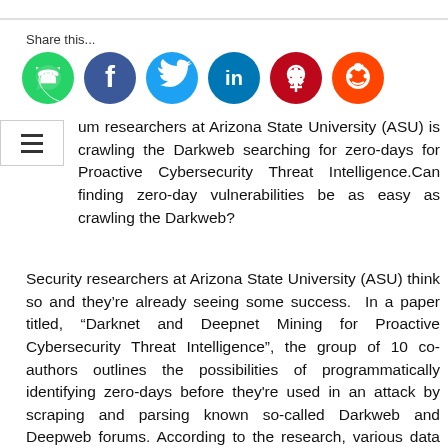Share this...
[Figure (infographic): Social sharing icons: WhatsApp (green), Facebook (blue), Twitter (light blue), LinkedIn (dark blue), Pinterest (red), Reddit (orange-red)]
um researchers at Arizona State University (ASU) is crawling the Darkweb searching for zero-days for Proactive Cybersecurity Threat Intelligence.Can finding zero-day vulnerabilities be as easy as crawling the Darkweb?
Security researchers at Arizona State University (ASU) think so and they’re already seeing some success.  In a paper titled, “Darknet and Deepnet Mining for Proactive Cybersecurity Threat Intelligence”, the group of 10 co-authors outlines the possibilities of programmatically identifying zero-days before they're used in an attack by scraping and parsing known so-called Darkweb and Deepweb forums. According to the research, various data mining and machine learning techniques can be used toanalyze discussions in forums where malicious code is sold in exchange for bitcoins and the initial results